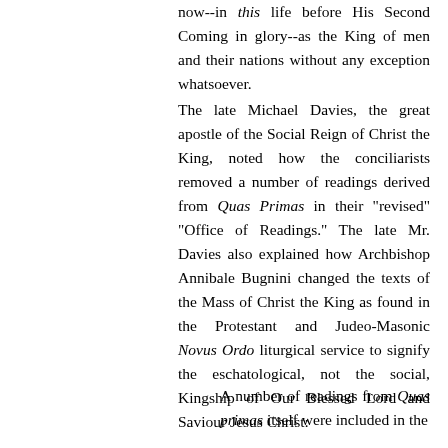now--in this life before His Second Coming in glory--as the King of men and their nations without any exception whatsoever.
The late Michael Davies, the great apostle of the Social Reign of Christ the King, noted how the conciliarists removed a number of readings derived from Quas Primas in their "revised" "Office of Readings." The late Mr. Davies also explained how Archbishop Annibale Bugnini changed the texts of the Mass of Christ the King as found in the Protestant and Judeo-Masonic Novus Ordo liturgical service to signify the eschatological, not the social, Kingship of Our Blessed Lord and Saviour Jesus Christ:
A number of readings from Quas primas itself were included in the